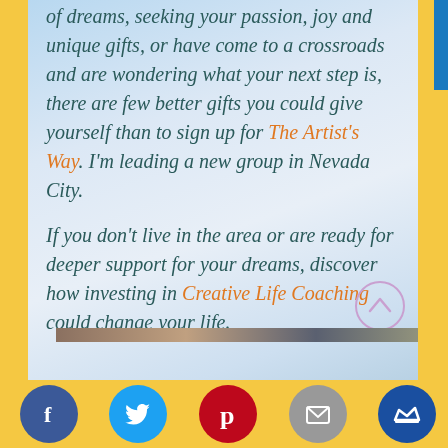If you are starting out on the path of dreams, seeking your passion, joy and unique gifts, or have come to a crossroads and are wondering what your next step is, there are few better gifts you could give yourself than to sign up for The Artist's Way. I'm leading a new group in Nevada City.
If you don't live in the area or are ready for deeper support for your dreams, discover how investing in Creative Life Coaching could change your life.
[Figure (other): Social media sharing icons: Facebook, Twitter, Pinterest, Mail, Crown/Monarch; plus a scroll-up arrow button]